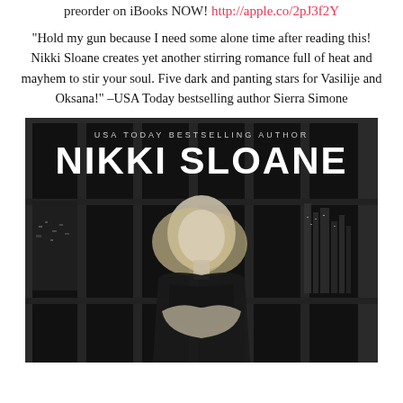preorder on iBooks NOW! http://apple.co/2pJ3f2Y
“Hold my gun because I need some alone time after reading this! Nikki Sloane creates yet another stirring romance full of heat and mayhem to stir your soul. Five dark and panting stars for Vasilije and Oksana!” –USA Today bestselling author Sierra Simone
[Figure (photo): Book cover for Nikki Sloane, USA Today Bestselling Author. Black and white photo of a blonde woman in a dark top with a city skyline visible through large windows behind her. Text reads 'USA TODAY BESTSELLING AUTHOR NIKKI SLOANE' in white letters on dark background.]